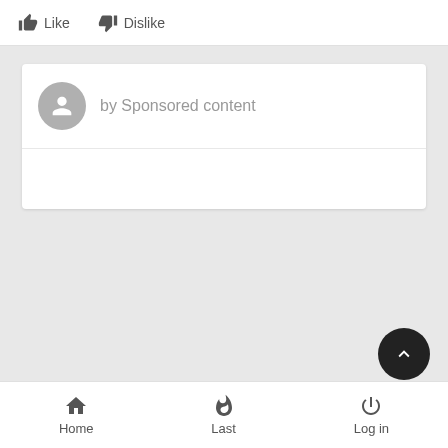[Figure (screenshot): Top bar with Like and Dislike buttons with thumbs up/down icons]
[Figure (screenshot): Sponsored content card with grey avatar circle and text 'by Sponsored content']
[Figure (screenshot): Floating action button (dark circle with upward chevron arrow) in lower right]
[Figure (screenshot): Bottom navigation bar with Home, Last, and Log in icons and labels]